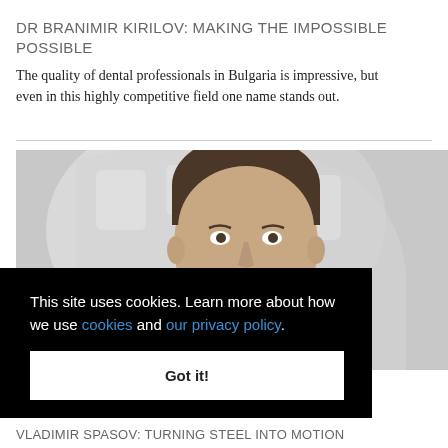DR BRANIMIR KIRILOV: MAKING THE IMPOSSIBLE POSSIBLE
The quality of dental professionals in Bulgaria is impressive, but even in this highly competitive field one name stands out.
[Figure (photo): Portrait photo of Dr Branimir Kirilov, a man in a suit against a light background with dental imagery]
This site uses cookies. Learn more about how we use cookies and our privacy policy.
Got it!
VLADIMIR SPASOV: TURNING STEEL INTO MOTION